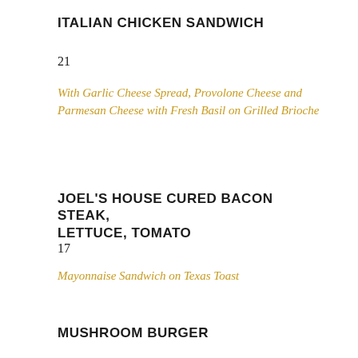ITALIAN CHICKEN SANDWICH
21
With Garlic Cheese Spread, Provolone Cheese and Parmesan Cheese with Fresh Basil on Grilled Brioche
JOEL'S HOUSE CURED BACON STEAK, LETTUCE, TOMATO
17
Mayonnaise Sandwich on Texas Toast
MUSHROOM BURGER